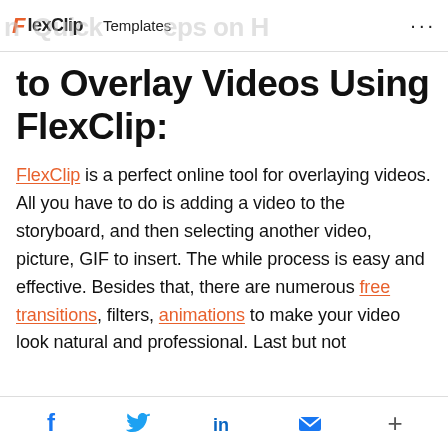FlexClip  Templates  ...
to Overlay Videos Using FlexClip:
FlexClip is a perfect online tool for overlaying videos. All you have to do is adding a video to the storyboard, and then selecting another video, picture, GIF to insert. The while process is easy and effective. Besides that, there are numerous free transitions, filters, animations to make your video look natural and professional. Last but not
f  Twitter  in  Email  +